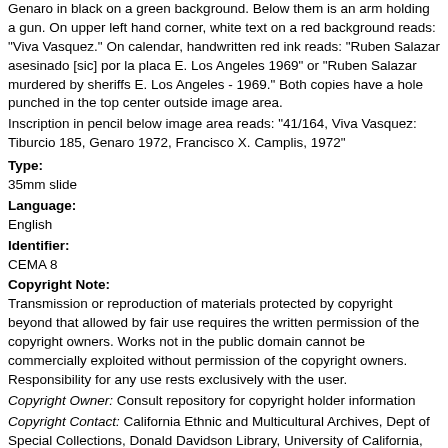Genaro in black on a green background. Below them is an arm holding a gun. On upper left hand corner, white text on a red background reads: "Viva Vasquez." On calendar, handwritten red ink reads: "Ruben Salazar asesinado [sic] por la placa E. Los Angeles 1969" or "Ruben Salazar murdered by sheriffs E. Los Angeles - 1969." Both copies have a hole punched in the top center outside image area.
Inscription in pencil below image area reads: "41/164, Viva Vasquez: Tiburcio 185, Genaro 1972, Francisco X. Camplis, 1972"
Type:
35mm slide
Language:
English
Identifier:
CEMA 8
Copyright Note:
Transmission or reproduction of materials protected by copyright beyond that allowed by fair use requires the written permission of the copyright owners. Works not in the public domain cannot be commercially exploited without permission of the copyright owners. Responsibility for any use rests exclusively with the user.
Copyright Owner: Consult repository for copyright holder information
Copyright Contact: California Ethnic and Multicultural Archives, Dept of Special Collections, Donald Davidson Library, University of California, Santa Barbara, CA 93106-9010; cema@library.ucsb.edu (805) 893-8563
Related Item:
Metacollection: California Cultures
Collection:
Royal Chicano Air Force Archives